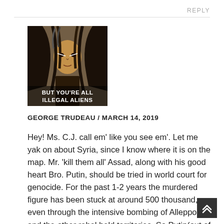REPLY
[Figure (photo): Photo of a Native American person with face paint and dark feathered hair. Overlaid text at the bottom reads: BUT YOU'RE ALL ILLEGAL ALIENS]
GEORGE TRUDEAU / MARCH 14, 2019
Hey! Ms. C.J. call em' like you see em'. Let me yak on about Syria, since I know where it is on the map. Mr. 'kill them all' Assad, along with his good heart Bro. Putin, should be tried in world court for genocide. For the past 1-2 years the murdered figure has been stuck at around 500 thousand, even through the intensive bombing of Alleppo, and the other rebel held territories, So Putin(out of the goodness of his heart,